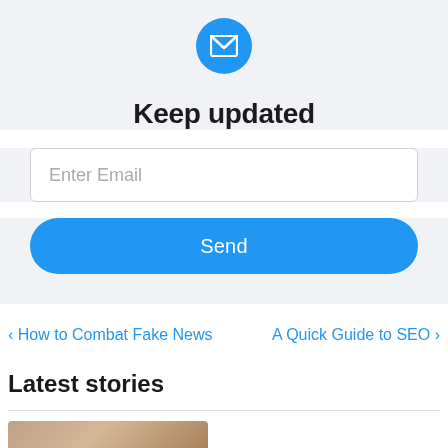[Figure (illustration): Blue circle with white envelope/mail icon]
Keep updated
Enter Email
Send
‹ How to Combat Fake News
A Quick Guide to SEO ›
Latest stories
[Figure (photo): Partial thumbnail image visible at bottom]